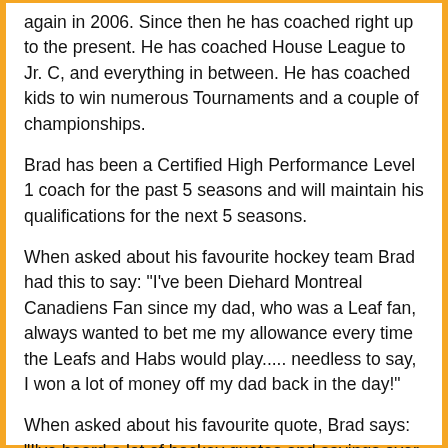again in 2006. Since then he has coached right up to the present. He has coached House League to Jr. C, and everything in between. He has coached kids to win numerous Tournaments and a couple of championships.
Brad has been a Certified High Performance Level 1 coach for the past 5 seasons and will maintain his qualifications for the next 5 seasons.
When asked about his favourite hockey team Brad had this to say: "I've been Diehard Montreal Canadiens Fan since my dad, who was a Leaf fan, always wanted to bet me my allowance every time the Leafs and Habs would play..... needless to say, I won a lot of money off my dad back in the day!"
When asked about his favourite quote, Brad says: "I've heard a lot of hockey quotes and sayings over the years, but I must say this one is very fitting for myself and a lot of guys I used to play hockey with " When